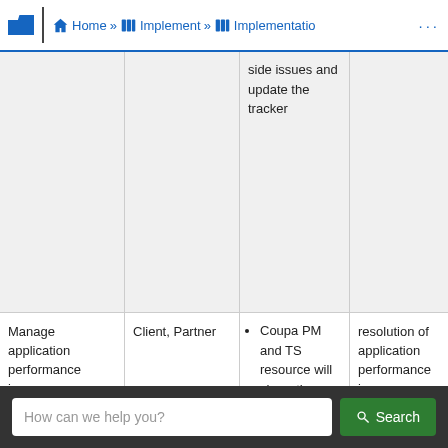Home » Implement » Implementatio ...
| Task | Owner | Activity | Outcome |
| --- | --- | --- | --- |
|  |  | side issues and update the tracker |  |
| Manage application performance issues | Client, Partner | Coupa PM and TS resource will share the responsibility of doing... | resolution of application performance issues |